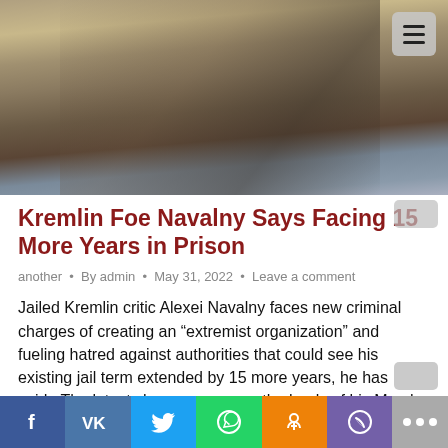[Figure (photo): A man in a plaid shirt stands near a glass partition in what appears to be a courtroom, raising his fist.]
Kremlin Foe Navalny Says Facing 15 More Years in Prison
another · By admin · May 31, 2022 · Leave a comment
Jailed Kremlin critic Alexei Navalny faces new criminal charges of creating an “extremist organization” and fueling hatred against authorities that could see his existing jail term extended by 15 more years, he has said. The latest charges come on the heels of his March sentencing to nine years, raising fears among allies and supporters that authorities